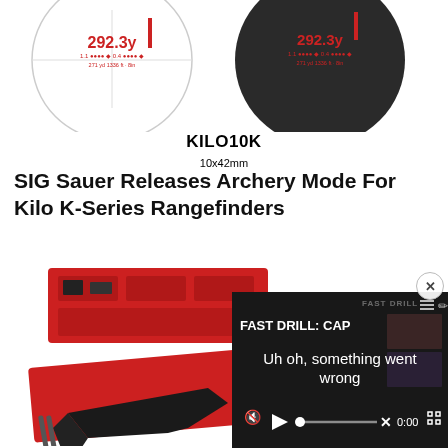[Figure (photo): Two rangefinder views side by side: left shows white circle with red crosshair and text reading 292.3y; right shows dark circle with same rangefinder display. Both are SIG Sauer KILO10K rangefinder views.]
KILO10K
10x42mm
SIG Sauer Releases Archery Mode For Kilo K-Series Rangefinders
[Figure (photo): Red toolbox/case with gun parts including a pistol frame and small components laid out on a red surface]
[Figure (screenshot): Video player overlay showing 'FAST DRILL: CAP' title with error message 'Uh oh, something went wrong' and video controls at bottom showing 0:00 time]